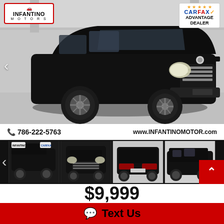[Figure (photo): Black Chrysler Town & Country minivan parked in a covered parking garage, front three-quarter view. Infantino Motors logo top left, CARFAX Advantage Dealer badge top right.]
786-222-5763   www.INFANTINOMOTOR.com
[Figure (photo): Four thumbnail photos of the same black Chrysler Town & Country minivan from different angles]
$9,999
Text Us